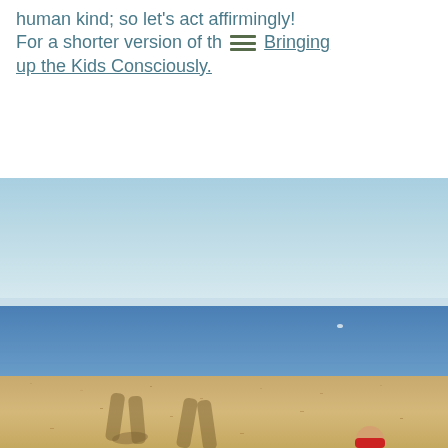human kind; so let's act affirmingly! For a shorter version of th [menu icon] Bringing up the Kids Consciously.
[Figure (photo): A beach scene photographed from a low angle. The upper portion shows a clear blue sky above a calm blue ocean with a distinct horizon line. The lower portion shows a sandy beach with two adult shadows cast on the sand in the foreground, and a young child visible at the bottom right of the image wearing a red outfit.]